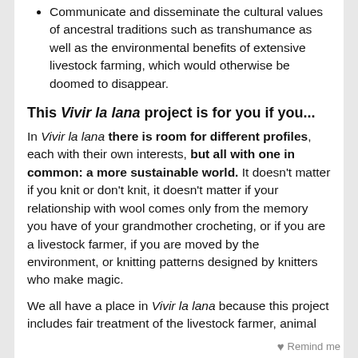Communicate and disseminate the cultural values of ancestral traditions such as transhumance as well as the environmental benefits of extensive livestock farming, which would otherwise be doomed to disappear.
This Vivir la lana project is for you if you...
In Vivir la lana there is room for different profiles, each with their own interests, but all with one in common: a more sustainable world. It doesn't matter if you knit or don't knit, it doesn't matter if your relationship with wool comes only from the memory you have of your grandmother crocheting, or if you are a livestock farmer, if you are moved by the environment, or knitting patterns designed by knitters who make magic.
We all have a place in Vivir la lana because this project includes fair treatment of the livestock farmer, animal